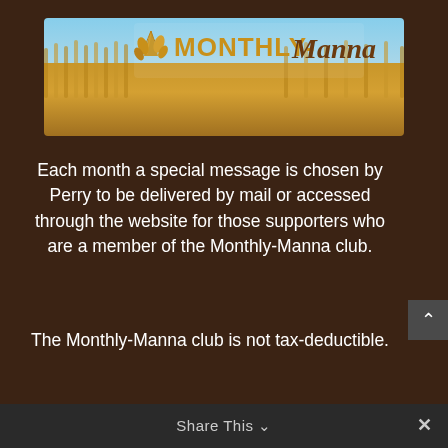[Figure (photo): Monthly-Manna banner with wheat field background and logo text reading MONTHLY-Manna with decorative wheat graphic]
Each month a special message is chosen by Perry to be delivered by mail or accessed through the website for those supporters who are a member of the Monthly-Manna club.
The Monthly-Manna club is not tax-deductible.
Share This ∨   ✕